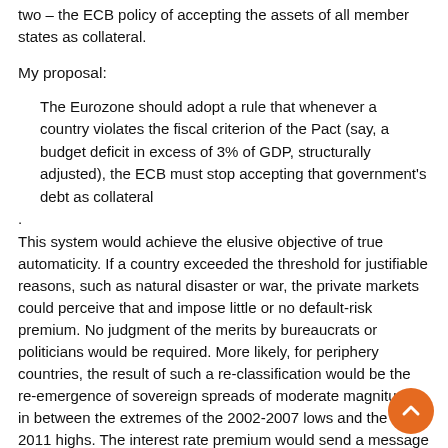two – the ECB policy of accepting the assets of all member states as collateral.
My proposal:
The Eurozone should adopt a rule that whenever a country violates the fiscal criterion of the Pact (say, a budget deficit in excess of 3% of GDP, structurally adjusted), the ECB must stop accepting that government's debt as collateral
. This system would achieve the elusive objective of true automaticity. If a country exceeded the threshold for justifiable reasons, such as natural disaster or war, the private markets could perceive that and impose little or no default-risk premium. No judgment of the merits by bureaucrats or politicians would be required. More likely, for periphery countries, the result of such a re-classification would be the re-emergence of sovereign spreads of moderate magnitudes, in between the extremes of the 2002-2007 lows and the 2009-2011 highs. The interest rate premium would send a message far more credibly, forcefully and promptly than any warning that any Brussels bureaucracy will ever turn out.